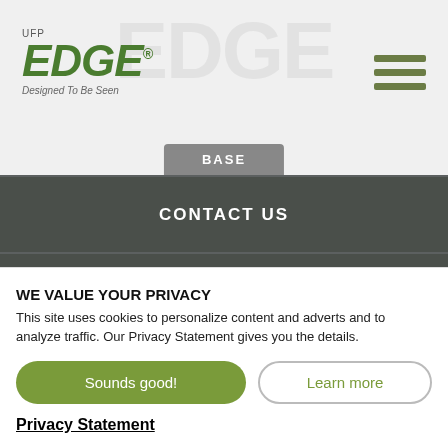[Figure (logo): UFP Edge logo — 'UFP' in small text above large italic green 'EDGE' with registered mark, tagline 'Designed To Be Seen' below]
[Figure (infographic): Hamburger menu icon — three horizontal olive-green bars stacked vertically, top right of header]
BASE
CONTACT US
WHY UFP-EDGE
PREFINISHING
INSPIRATION
RESOURCES
WE VALUE YOUR PRIVACY
This site uses cookies to personalize content and adverts and to analyze traffic. Our Privacy Statement gives you the details.
Sounds good!
Learn more
Privacy Statement